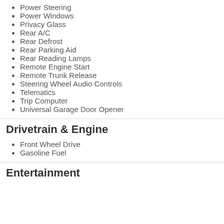Power Steering
Power Windows
Privacy Glass
Rear A/C
Rear Defrost
Rear Parking Aid
Rear Reading Lamps
Remote Engine Start
Remote Trunk Release
Steering Wheel Audio Controls
Telematics
Trip Computer
Universal Garage Door Opener
Drivetrain & Engine
Front Wheel Drive
Gasoline Fuel
Entertainment